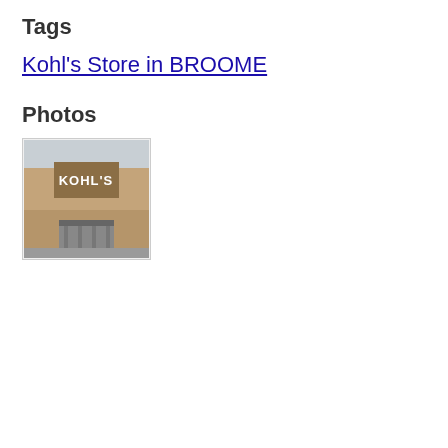Tags
Kohl's Store in BROOME
Photos
[Figure (photo): Exterior photo of a Kohl's store building facade showing the KOHL'S sign on a tan/brown building]